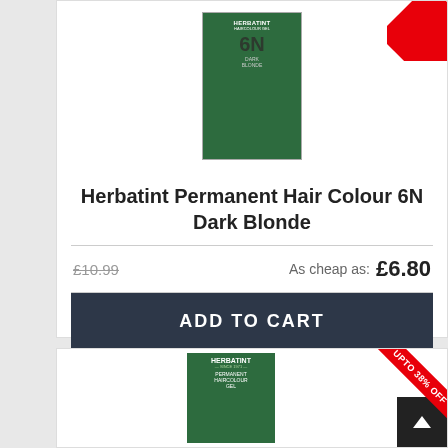[Figure (photo): Product image of Herbatint Permanent Hair Colour 6N Dark Blonde box with red discount badge in top right corner]
Herbatint Permanent Hair Colour 6N Dark Blonde
£10.99  As cheap as: £6.80
ADD TO CART
[Figure (photo): Second product card showing Herbatint Permanent Haircolour Gel box with UPTO 38% OFF red badge in top right corner]